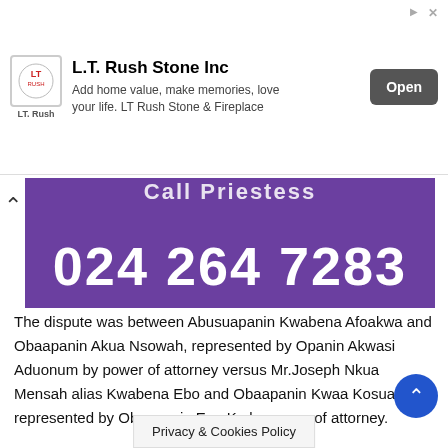[Figure (screenshot): Advertisement banner for L.T. Rush Stone Inc with logo, tagline 'Add home value, make memories, love your life. LT Rush Stone & Fireplace', and an Open button]
[Figure (screenshot): Purple banner showing phone number 024 264 7283 in large white bold text]
The dispute was between Abusuapanin Kwabena Afoakwa and Obaapanin Akua Nsowah, represented by Opanin Akwasi Aduonum by power of attorney versus Mr.Joseph Nkua Mensah alias Kwabena Ebo and Obaapanin Kwaa Kosua represented by Obaapanin Eno Ku by power of attorney.
Mr.Joseph Nkua Mensah was parading himself as Nana Anyimadu Koffour II which was false and misleading.
The five- member panel who sat on the case since 20 June,2020 , ruled on th [truncated] 2021 at the